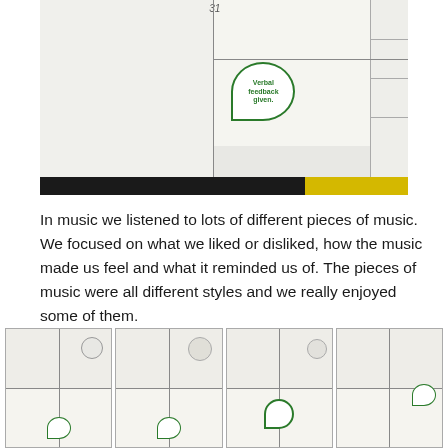[Figure (photo): Photo of a student notebook/worksheet with grid layout showing columns, horizontal lines, a handwritten number '31', and a green 'Verbal feedback given' stamp in the middle column. Black bar at bottom left, yellow bar at bottom right.]
In music we listened to lots of different pieces of music. We focused on what we liked or disliked, how the music made us feel and what it reminded us of. The pieces of music were all different styles and we really enjoyed some of them.
[Figure (photo): Four photos of student worksheets/notebooks arranged in a row at the bottom of the page, each showing handwritten notes and drawings with green feedback stamps.]